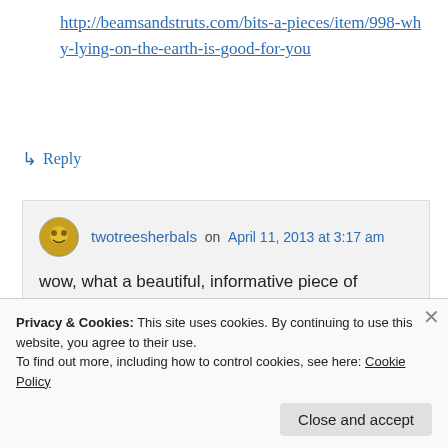http://beamsandstruts.com/bits-a-pieces/item/998-why-lying-on-the-earth-is-good-for-you
↳ Reply
twotreesherbals on April 11, 2013 at 3:17 am
wow, what a beautiful, informative piece of writing! thanks so much for sharing!
Privacy & Cookies: This site uses cookies. By continuing to use this website, you agree to their use. To find out more, including how to control cookies, see here: Cookie Policy